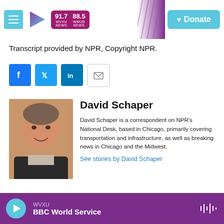WVXU 91.7 NEWS / WMUB 88.5 NEWS — Donate
Transcript provided by NPR, Copyright NPR.
[Figure (screenshot): Social sharing buttons: Facebook, Twitter, LinkedIn, Email]
[Figure (photo): Headshot photo of David Schaper]
David Schaper
David Schaper is a correspondent on NPR's National Desk, based in Chicago, primarily covering transportation and infrastructure, as well as breaking news in Chicago and the Midwest.
See stories by David Schaper
WVXU — BBC World Service